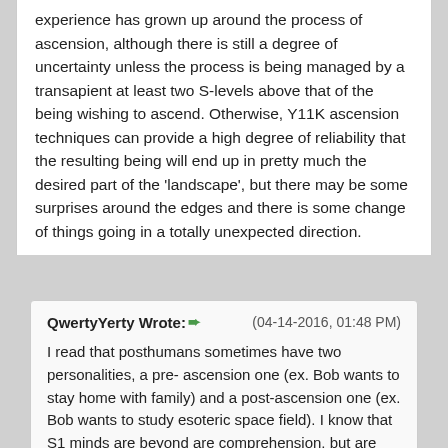experience has grown up around the process of ascension, although there is still a degree of uncertainty unless the process is being managed by a transapient at least two S-levels above that of the being wishing to ascend. Otherwise, Y11K ascension techniques can provide a high degree of reliability that the resulting being will end up in pretty much the desired part of the 'landscape', but there may be some surprises around the edges and there is some change of things going in a totally unexpected direction.
QwertyYerty Wrote: → (04-14-2016, 01:48 PM) I read that posthumans sometimes have two personalities, a pre- ascension one (ex. Bob wants to stay home with family) and a post-ascension one (ex. Bob wants to study esoteric space field). I know that S1 minds are beyond are comprehension, but are there any common behaviors among post humans other than sounding relatable until they say or do something that is incomprehensible to us mere baselines?